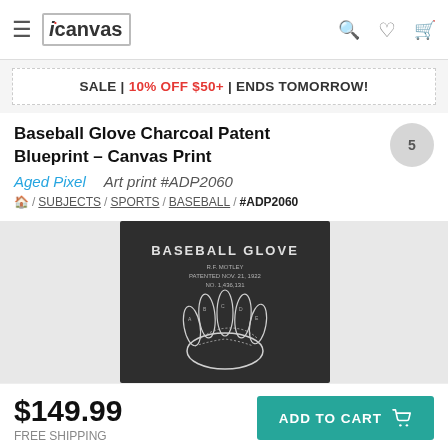icanvas
SALE | 10% OFF $50+ | ENDS TOMORROW!
Baseball Glove Charcoal Patent Blueprint – Canvas Print
Aged Pixel   Art print #ADP2060
🏠 / SUBJECTS / SPORTS / BASEBALL / #ADP2060
[Figure (photo): Canvas print of Baseball Glove charcoal patent blueprint showing a dark background with 'BASEBALL GLOVE' text and a white line drawing of a baseball glove with patent details]
$149.99
FREE SHIPPING
ADD TO CART